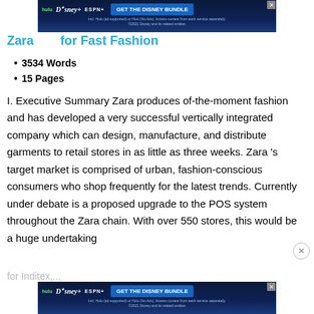[Figure (other): Disney Bundle advertisement banner at top of page featuring Hulu, Disney+, and ESPN+ logos with 'GET THE DISNEY BUNDLE' call to action button]
Zara for Fast Fashion
3534 Words
15 Pages
I. Executive Summary Zara produces of-the-moment fashion and has developed a very successful vertically integrated company which can design, manufacture, and distribute garments to retail stores in as little as three weeks. Zara 's target market is comprised of urban, fashion-conscious consumers who shop frequently for the latest trends. Currently under debate is a proposed upgrade to the POS system throughout the Zara chain. With over 550 stores, this would be a huge undertaking for Inditex,...
[Figure (other): Disney Bundle advertisement banner at bottom of page featuring Hulu, Disney+, and ESPN+ logos with 'GET THE DISNEY BUNDLE' call to action button]